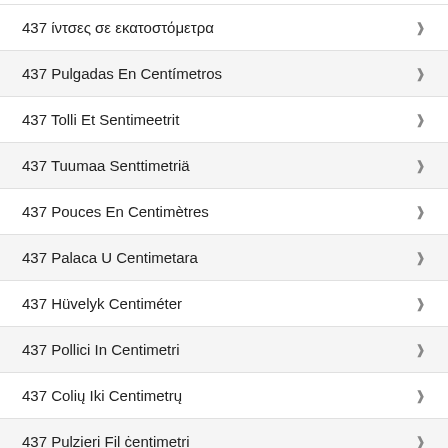437 ίντσες σε εκατοστόμετρα
437 Pulgadas En Centímetros
437 Tolli Et Sentimeetrit
437 Tuumaa Senttimetriä
437 Pouces En Centimètres
437 Palaca U Centimetara
437 Hüvelyk Centiméter
437 Pollici In Centimetri
437 Colių Iki Centimetrų
437 Pulzieri Fil ċentimetri
437 Inches Naar Centimeters
437 Cale Na Centymetry